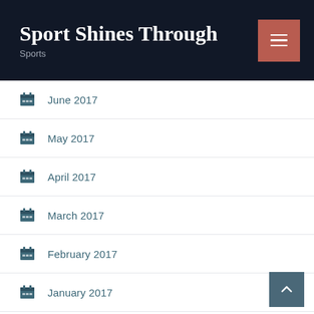Sport Shines Through
Sports
June 2017
May 2017
April 2017
March 2017
February 2017
January 2017
Categories